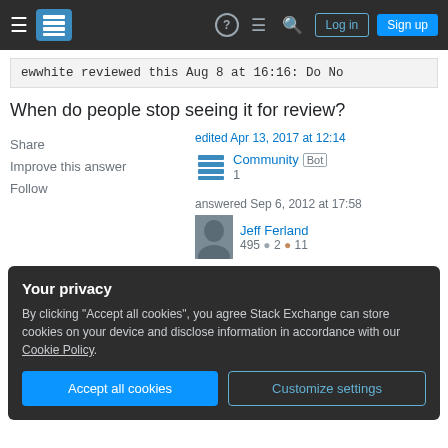Stack Exchange navigation bar with hamburger menu, logo, help icon, chat icon, search icon, Log in and Sign up buttons
ewwhite reviewed this Aug 8 at 16:16: Do No
When do people stop seeing it for review?
Share
Improve this answer
Follow
edited Apr 13, 2017 at 12:14
Community Bot
1
answered Sep 6, 2012 at 17:58
Jeff Ferland
495 ●2 ●11
Your privacy
By clicking "Accept all cookies", you agree Stack Exchange can store cookies on your device and disclose information in accordance with our Cookie Policy.
Accept all cookies
Customize settings